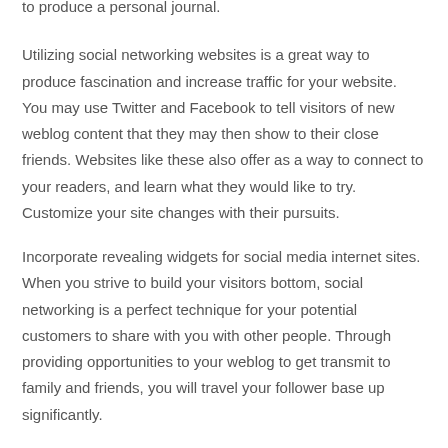to produce a personal journal.
Utilizing social networking websites is a great way to produce fascination and increase traffic for your website. You may use Twitter and Facebook to tell visitors of new weblog content that they may then show to their close friends. Websites like these also offer as a way to connect to your readers, and learn what they would like to try. Customize your site changes with their pursuits.
Incorporate revealing widgets for social media internet sites. When you strive to build your visitors bottom, social networking is a perfect technique for your potential customers to share with you with other people. Through providing opportunities to your weblog to get transmit to family and friends, you will travel your follower base up significantly.
Ensure that you are operating a blog for the best good reasons. If you are looking for many speedy money, this is not the way to go. Running a blog ought to be a greater portion of a hobby. If it gets